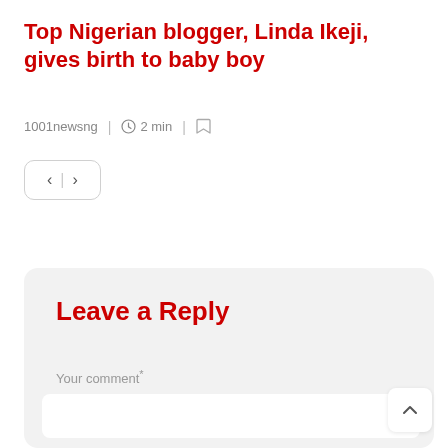Top Nigerian blogger, Linda Ikeji, gives birth to baby boy
1001newsng  |  2 min  |  [bookmark]
[Figure (other): Navigation arrows box with left arrow, separator bar, and right arrow inside a rounded rectangle]
Leave a Reply
Your comment *
[Figure (other): Comment text input area (white rounded rectangle)]
[Figure (other): Scroll to top button with upward chevron arrow]